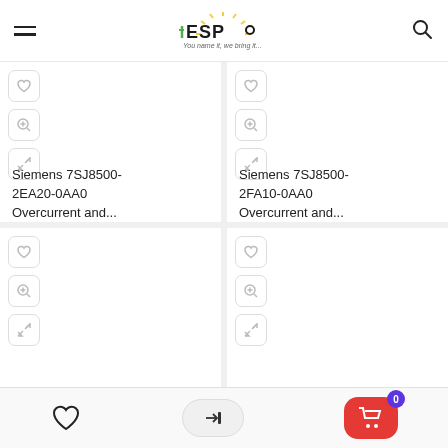ESP - Every Spare Parts - You name it, we bring it...
Siemens 7SJ8500-2EA20-0AA0 Overcurrent and...
Siemens 7SJ8500-2FA10-0AA0 Overcurrent and...
[Figure (screenshot): Product card placeholder with wishlist heart, zoom, and expand icons]
[Figure (screenshot): Product card placeholder with wishlist heart, zoom, and expand icons]
Wishlist | Login | Cart (0)